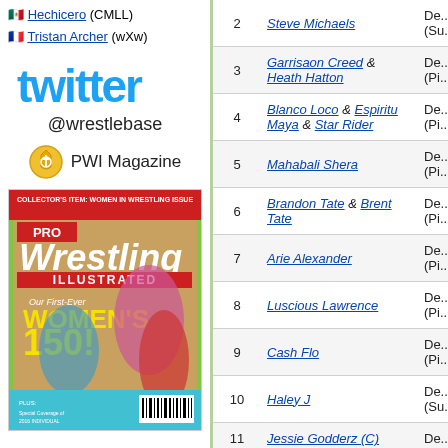🇲🇽 Hechicero (CMLL)
🇫🇷 Tristan Archer (wXw)
[Figure (logo): Twitter bird logo text in blue: 'twitter']
@wrestlebase
[Figure (logo): PWI Magazine gold shield badge icon with text 'PWI Magazine']
[Figure (photo): Pro Wrestling Illustrated magazine cover - Women's 150 collector's item issue showing female wrestlers]
| # | Wrestler | Details |
| --- | --- | --- |
| 2 | Steve Michaels | De...(Su... |
| 3 | Garrisaon Creed & Heath Hatton | De...(Pi... |
| 4 | Blanco Loco & Espiritu Maya & Star Rider | De...(Pi... |
| 5 | Mahabali Shera | De...(Pi... |
| 6 | Brandon Tate & Brent Tate | De...(Pi... |
| 7 | Arie Alexander | De...(Pi... |
| 8 | Luscious Lawrence | De...(Pi... |
| 9 | Cash Flo | De...(Pi... |
| 10 | Haley J | De...(Su... |
| 11 | Jessie Godderz (C) | De... |